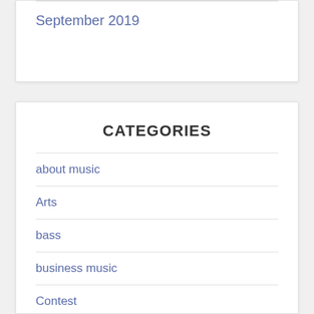September 2019
CATEGORIES
about music
Arts
bass
business music
Contest
drum
Genre
guitar